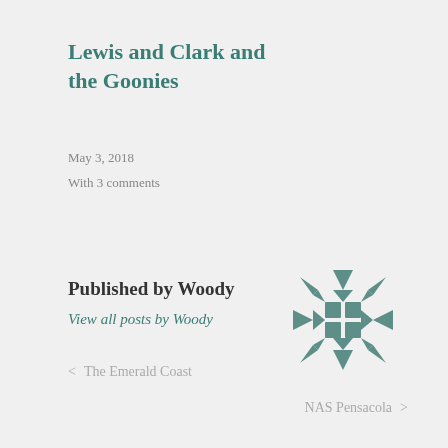Lewis and Clark and the Goonies
May 3, 2018
With 3 comments
Published by Woody
View all posts by Woody
[Figure (logo): Decorative geometric snowflake/quilt pattern icon in teal/grey color]
< The Emerald Coast
NAS Pensacola >